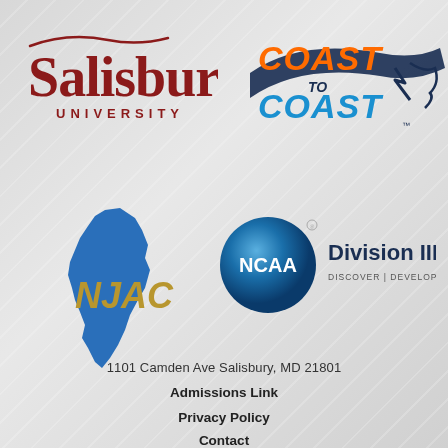[Figure (logo): Salisbury University logo — dark red serif text 'Salisbury' in large script above 'UNIVERSITY' in spaced caps]
[Figure (logo): Coast to Coast athletic brand logo — 'COAST TO COAST' in orange and blue bold text with lightning bolt and map graphic, dark navy outline]
[Figure (logo): NJAC logo — blue silhouette of New Jersey state with gold letters 'NJAC' overlaid]
[Figure (logo): NCAA Division III logo — blue sphere with white NCAA text, beside 'Division III' text and tagline 'DISCOVER | DEVELOP | DEDICATE']
1101 Camden Ave Salisbury, MD 21801
Admissions Link
Privacy Policy
Contact